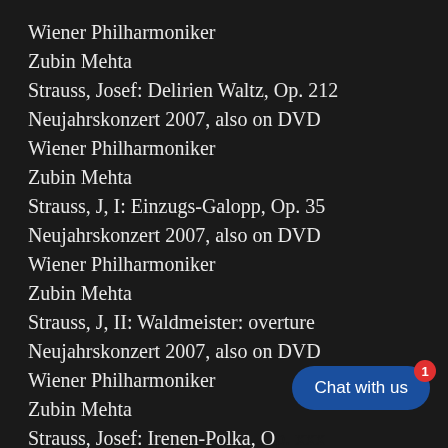Wiener Philharmoniker
Zubin Mehta
Strauss, Josef: Delirien Waltz, Op. 212
Neujahrskonzert 2007, also on DVD
Wiener Philharmoniker
Zubin Mehta
Strauss, J, I: Einzugs-Galopp, Op. 35
Neujahrskonzert 2007, also on DVD
Wiener Philharmoniker
Zubin Mehta
Strauss, J, II: Waldmeister: overture
Neujahrskonzert 2007, also on DVD
Wiener Philharmoniker
Zubin Mehta
Strauss, Josef: Irenen-Polka, O[truncated]
Neujahrskonzert 2007, also on[truncated]
Wiener Philharmoniker
Zubin Mehta